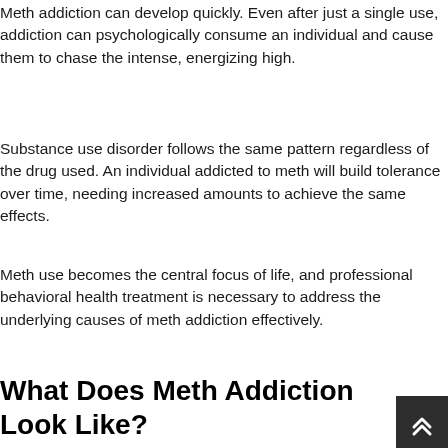Meth addiction can develop quickly. Even after just a single use, addiction can psychologically consume an individual and cause them to chase the intense, energizing high.
Substance use disorder follows the same pattern regardless of the drug used. An individual addicted to meth will build tolerance over time, needing increased amounts to achieve the same effects.
Meth use becomes the central focus of life, and professional behavioral health treatment is necessary to address the underlying causes of meth addiction effectively.
What Does Meth Addiction Look Like?